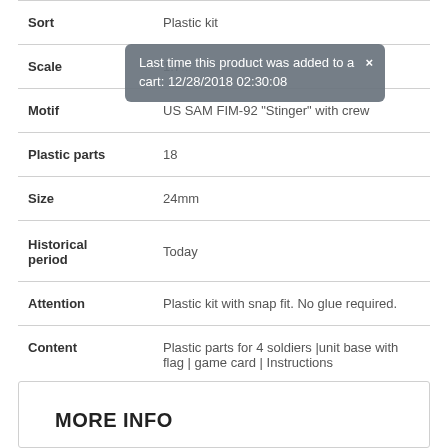| Attribute | Value |
| --- | --- |
| Sort | Plastic kit |
| Scale | 1:7... |
| Motif | US SAM FIM-92 "Stinger" with crew |
| Plastic parts | 18 |
| Size | 24mm |
| Historical period | Today |
| Attention | Plastic kit with snap fit. No glue required. |
| Content | Plastic parts for 4 soldiers |unit base with flag | game card | Instructions |
| Year | 2014 |
Last time this product was added to a cart: 12/28/2018 02:30:08
MORE INFO